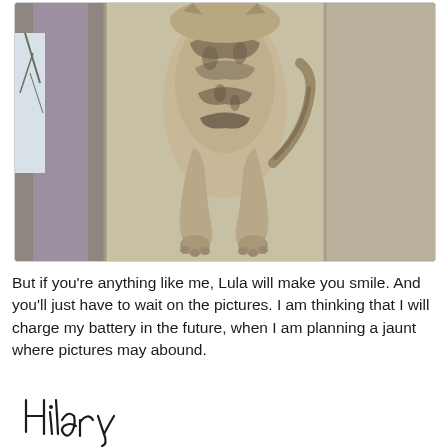[Figure (photo): A cat viewed from below/behind, showing its belly and back legs, squeezed between sofa cushions. The background includes beige cushions and a curtain with a tree visible outside.]
But if you're anything like me, Lula will make you smile. And you'll just have to wait on the pictures. I am thinking that I will charge my battery in the future, when I am planning a jaunt where pictures may abound.
[Figure (illustration): A handwritten cursive signature reading 'Hilary']